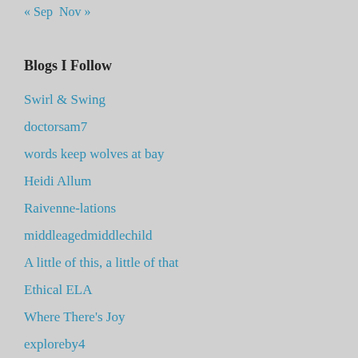« Sep  Nov »
Blogs I Follow
Swirl & Swing
doctorsam7
words keep wolves at bay
Heidi Allum
Raivenne-lations
middleagedmiddlechild
A little of this, a little of that
Ethical ELA
Where There's Joy
exploreby4
Overly Dramatic